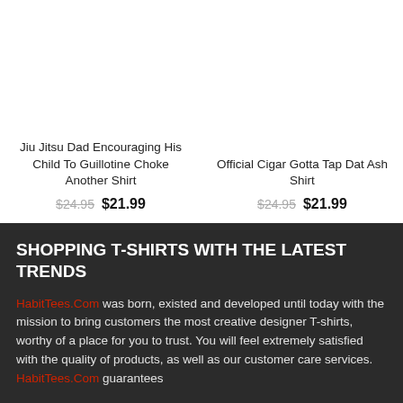Jiu Jitsu Dad Encouraging His Child To Guillotine Choke Another Shirt
$24.95  $21.99
Official Cigar Gotta Tap Dat Ash Shirt
$24.95  $21.99
SHOPPING T-SHIRTS WITH THE LATEST TRENDS
HabitTees.Com was born, existed and developed until today with the mission to bring customers the most creative designer T-shirts, worthy of a place for you to trust. You will feel extremely satisfied with the quality of products, as well as our customer care services. HabitTees.Com guarantees